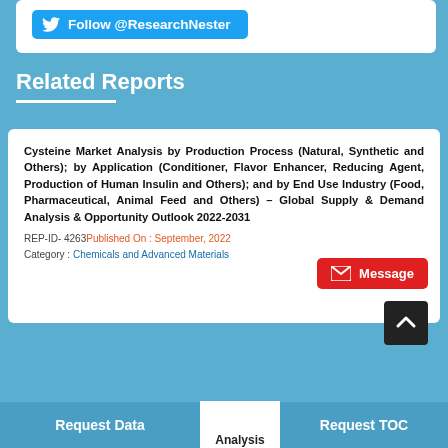[Figure (logo): Twitter Follow button: Follow @ResearchNester]
Related Reports
Cysteine Market Analysis by Production Process (Natural, Synthetic and Others); by Application (Conditioner, Flavor Enhancer, Reducing Agent, Production of Human Insulin and Others); and by End Use Industry (Food, Pharmaceutical, Animal Feed and Others) – Global Supply & Demand Analysis & Opportunity Outlook 2022-2031
REP-ID- 4263 Published On : September, 2022
Category : Chemicals and Advanced Materials
[Figure (other): Red Message button]
[Figure (other): Scroll to top dark button with chevron icon]
Request Data | Analysis | Request TOC